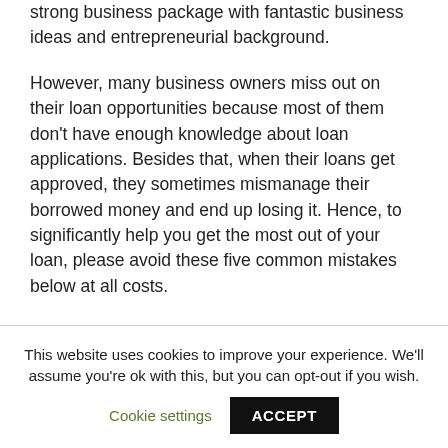strong business package with fantastic business ideas and entrepreneurial background.
However, many business owners miss out on their loan opportunities because most of them don't have enough knowledge about loan applications. Besides that, when their loans get approved, they sometimes mismanage their borrowed money and end up losing it. Hence, to significantly help you get the most out of your loan, please avoid these five common mistakes below at all costs.
This website uses cookies to improve your experience. We'll assume you're ok with this, but you can opt-out if you wish.
Cookie settings | ACCEPT